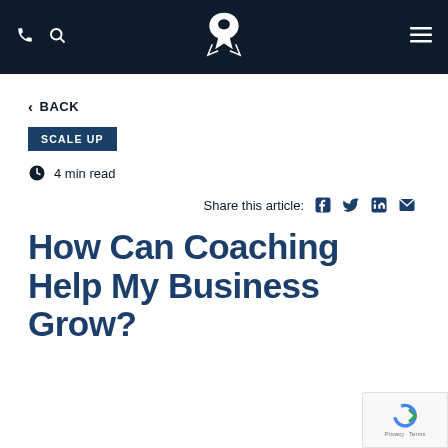Navigation bar with phone icon, search icon, logo, and menu icon
< BACK
SCALE UP
4 min read
Share this article:
How Can Coaching Help My Business Grow?